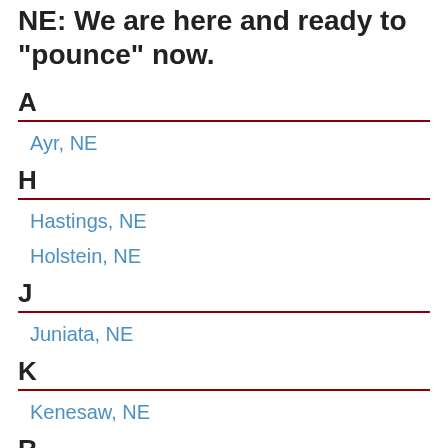NE: We are here and ready to "pounce" now.
A
Ayr, NE
H
Hastings, NE
Holstein, NE
J
Juniata, NE
K
Kenesaw, NE
R